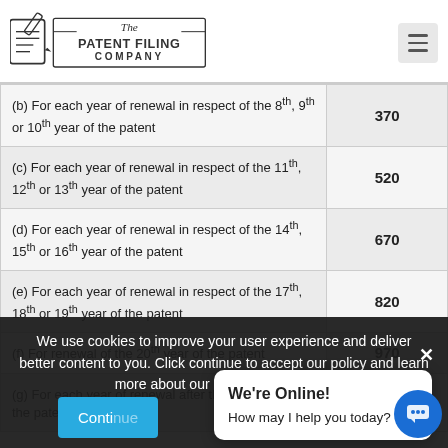The Patent Filing Company
| Description | Fee |
| --- | --- |
| (b) For each year of renewal in respect of the 8th, 9th or 10th year of the patent | 370 |
| (c) For each year of renewal in respect of the 11th, 12th or 13th year of the patent | 520 |
| (d) For each year of renewal in respect of the 14th, 15th or 16th year of the patent | 670 |
| (e) For each year of renewal in respect of the 17th, 18th or 19th year of the patent | 820 |
| (f) For renewal of the 20th year of the patent | 970 |
| (g) For each year of renewal after the 20th year of the patent | 1,200 |
We use cookies to improve your user experience and deliver better content to you. Click continue to accept our policy and learn more about our privacy policy here.
We're Online! How may I help you today?